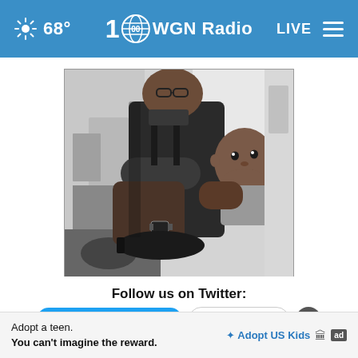68° WGN Radio 100 LIVE
[Figure (photo): Black and white photo of a man cooking in a kitchen while carrying a baby on his back. The man is wearing an apron, glasses, and a watch, and is bending over a pan on the stove. The baby peeks over his shoulder.]
Follow us on Twitter: Follow @wgnradio  55.9K followers
Adopt a teen. You can't imagine the reward. Adopt US Kids